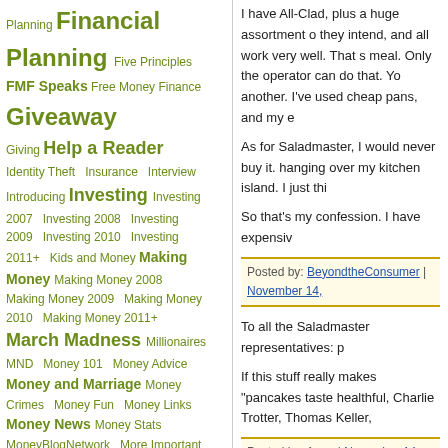Planning Financial Planning Five Principles FMF Speaks Free Money Finance Giveaway Giving Help a Reader Identity Theft Insurance Interview Introducing Investing Investing 2007 Investing 2008 Investing 2009 Investing 2010 Investing 2011+ Kids and Money Making Money Making Money 2008 Making Money 2009 Making Money 2010 Making Money 2011+ March Madness Millionaires MND Money 101 Money Advice Money and Marriage Money Crimes Money Fun Money Links Money News Money Stats MoneyBlogNetwork More Important than Money Net Worth One Year Ago Pets Posts of the Week Principle 1 Principle 2 Principle 3 Principle 4 Principle 5 Quote Reader Profiles Real Estate Real Estate 2008 Real Estate 2009 Real Estate 2010 Real Estate 2011+ Resolutions Retirement Retirement 2007 Retirement 2008 Retirement 2009
I have All-Clad, plus a huge assortment of other pots and they intend, and all work very well. That s... meal. Only the operator can do that. You... another. I've used cheap pans, and my e...
As for Saladmaster, I would never buy it. hanging over my kitchen island. I just thi...
So that's my confession. I have expensiv...
Posted by: BeyondtheConsumer | November 14,...
To all the Saladmaster representatives: p...
If this stuff really makes "pancakes taste healthful, Charlie Trotter, Thomas Keller,...
Posted by: Anne | November 14, 2007 at 02:37 PM
I think I'm going to go up to my kitchen a pots that we bought -- 3 for $100 -- 12 ye... except for one little dent from when one j...
And an even bigger kiss to my two nonst...